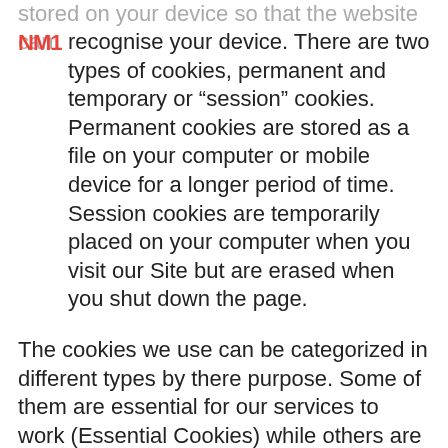stored on your device so that the website can
[Figure (logo): NM1 logo in red/pink color]
recognise your device. There are two types of cookies, permanent and temporary or “session” cookies. Permanent cookies are stored as a file on your computer or mobile device for a longer period of time. Session cookies are temporarily placed on your computer when you visit our Site but are erased when you shut down the page.
The cookies we use can be categorized in different types by there purpose. Some of them are essential for our services to work (Essential Cookies) while others are used to measure/optimize the content and performance of our services (Performance Cookies).
Our Site is built on a WordPress platform, and